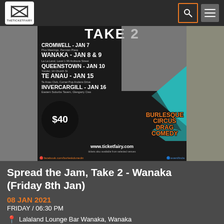THETICKETFAIRY
[Figure (photo): Event poster for 'Spread the Jam Take 2' showing tour dates: Cromwell Jan 7, Wanaka Jan 8 & 9, Queenstown Jan 10, Te Anau Jan 15, Invercargill Jan 16. Price $40. Burlesque Circus Drag Comedy. www.ticketfairy.com]
Spread the Jam, Take 2 - Wanaka (Friday 8th Jan)
08 JAN 2021
FRIDAY / 06:30 PM
Lalaland Lounge Bar Wanaka, Wanaka
Concert
Club Show